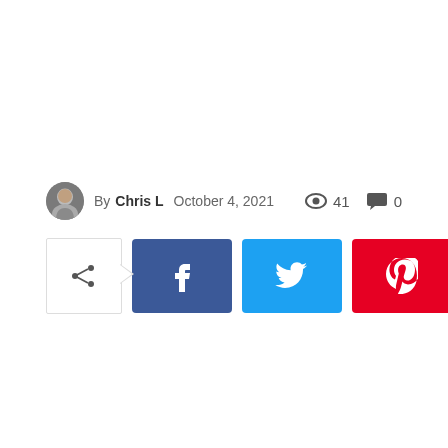By Chris L  October 4, 2021   👁 41   💬 0
[Figure (infographic): Social share buttons row: share icon button with arrow, Facebook, Twitter, Pinterest, WhatsApp]